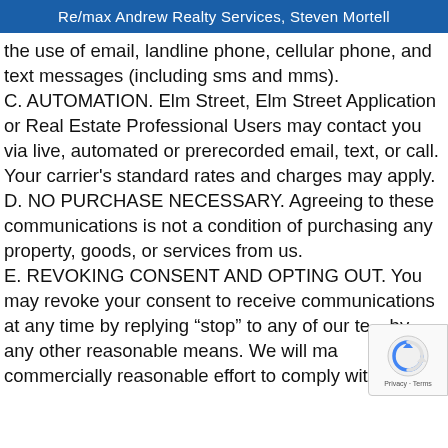Re/max Andrew Realty Services, Steven Mortell
the use of email, landline phone, cellular phone, and text messages (including sms and mms). C. AUTOMATION. Elm Street, Elm Street Applications or Real Estate Professional Users may contact you via live, automated or prerecorded email, text, or call. Your carrier's standard rates and charges may apply. D. NO PURCHASE NECESSARY. Agreeing to these communications is not a condition of purchasing any property, goods, or services from us. E. REVOKING CONSENT AND OPTING OUT. You may revoke your consent to receive communications at any time by replying “stop” to any of our texts or by any other reasonable means. We will make a commercially reasonable effort to comply with any